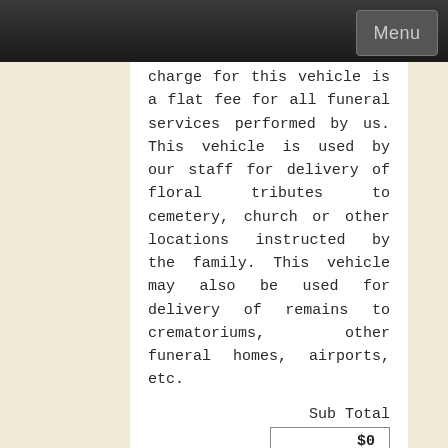Menu
charge for this vehicle is a flat fee for all funeral services performed by us. This vehicle is used by our staff for delivery of floral tributes to cemetery, church or other locations instructed by the family. This vehicle may also be used for delivery of remains to crematoriums, other funeral homes, airports, etc.
Sub Total
| $0 |
Total
| $0 |
For more information on pricing, please visit our Merchandise section.